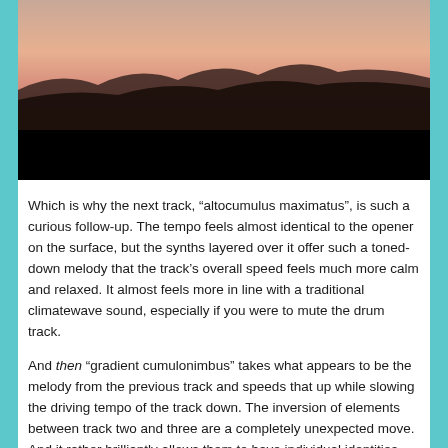[Figure (photo): Landscape photo showing a dramatic sky with warm peach/orange tones at the horizon and dark silhouetted hills or terrain below. The lower portion of the image is a solid black band, suggesting a widescreen video frame letterbox or intentional cropping.]
Which is why the next track, “altocumulus maximatus”, is such a curious follow-up. The tempo feels almost identical to the opener on the surface, but the synths layered over it offer such a toned-down melody that the track’s overall speed feels much more calm and relaxed. It almost feels more in line with a traditional climatewave sound, especially if you were to mute the drum track.
And then “gradient cumulonimbus” takes what appears to be the melody from the previous track and speeds that up while slowing the driving tempo of the track down. The inversion of elements between track two and three are a completely unexpected move. And it rather brilliantly allows them to have individual identities, but perhaps more interestingly, cohesion through unification. The first portion